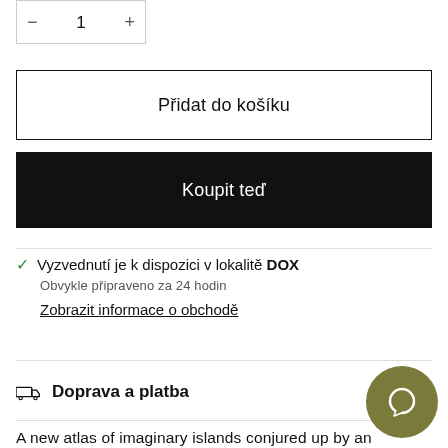[Figure (other): Quantity selector showing minus button, number 1, and plus button]
Přidat do košíku
Koupit teď
✓ Vyzvednutí je k dispozici v lokalitě DOX
Obvykle připraveno za 24 hodin
Zobrazit informace o obchodě
Doprava a platba
A new atlas of imaginary islands conjured up by an international gathering of illustrators, including work by Carolia Pickford Smith, Bill Bragg, Marion Douch...